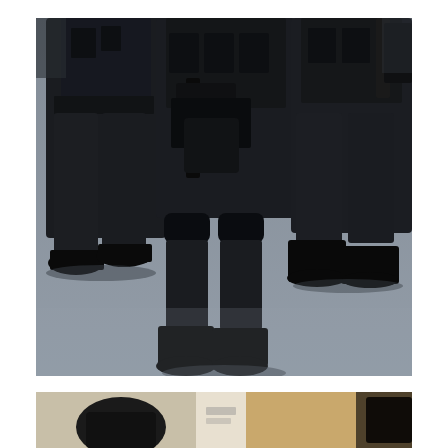[Figure (photo): Three law enforcement or security officers in full black tactical gear (black uniforms, knee pads, tactical vests, gloves, boots) standing on a grey floor. The officer in the center is holding an assault rifle. The image is cropped to show them from approximately waist/chest level down to their boots.]
[Figure (photo): Partial view of a second photograph showing a person in dark clothing, partially visible, against a light/tan background. Only the top portion of this photo is visible as it is cut off at the bottom of the page.]